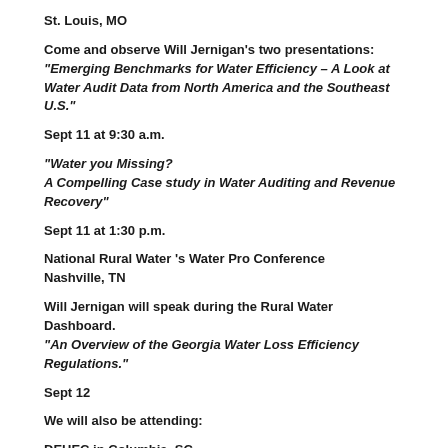St. Louis, MO
Come and observe Will Jernigan's two presentations: "Emerging Benchmarks for Water Efficiency – A Look at Water Audit Data from North America and the Southeast U.S."
Sept 11 at 9:30 a.m.
"Water you Missing? A Compelling Case study in Water Auditing and Revenue Recovery"
Sept 11 at 1:30 p.m.
National Rural Water 's Water Pro Conference
Nashville, TN
Will Jernigan will speak during the Rural Water Dashboard. "An Overview of the Georgia Water Loss Efficiency Regulations."
Sept 12
We will also be attending:
DEHEC in Columbia, SC
Sept 13th